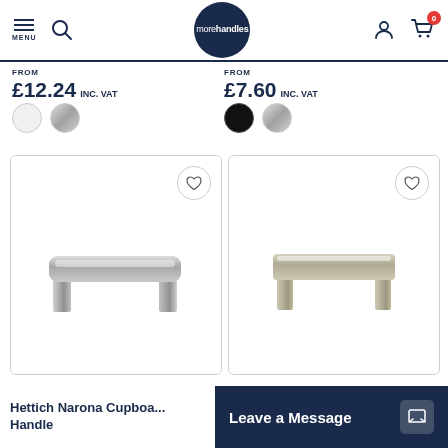morehandles — MENU, Search, Account, Cart (0)
FROM £12.24 INC. VAT
FROM £7.60 INC. VAT
[Figure (photo): Color swatches: white/light grey and silver for left product]
[Figure (photo): Color swatches: black and silver for right product]
[Figure (photo): Hettich Narona Cupboard Handle - brushed nickel bar handle on left card]
[Figure (photo): Square-edged brushed nickel/champagne bar handle on right card]
Hettich Narona Cupboard Handle
Leave a Message